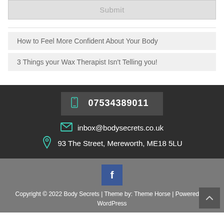Submit
How to Feel More Confident About Your Body
3 Things your Wax Therapist Isn't Telling you!
07534389011
inbox@bodysecrets.co.uk
93 The Street, Mereworth, ME18 5LU
f
Copyright © 2022 Body Secrets | Theme by: Theme Horse | Powered by: WordPress